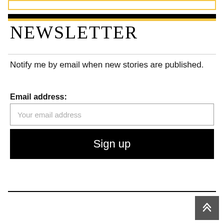NEWSLETTER
Notify me by email when new stories are published.
Email address:
Your email address
Sign up